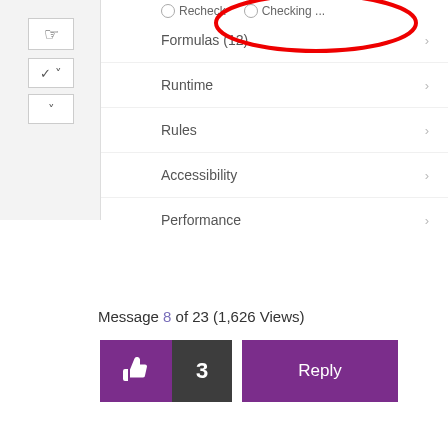[Figure (screenshot): Partial UI screenshot showing a left sidebar with a hand pointer button and two dropdown controls, and a main panel with radio buttons for Recheck and Checking, circled in red annotation. Below are menu items: Formulas (12), Runtime, Rules, Accessibility, Performance each with a right chevron arrow.]
Message 8 of 23 (1,626 Views)
[Figure (other): Like button (thumbs up) with count 3, and a Reply button]